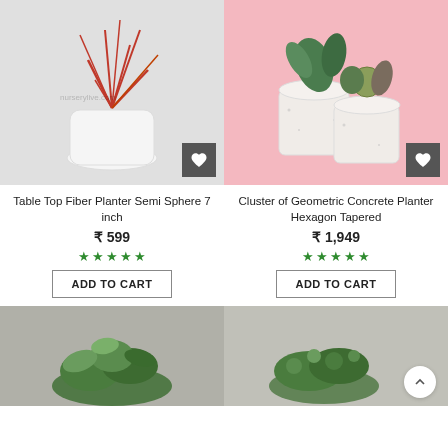[Figure (photo): Table Top Fiber Planter Semi Sphere 7 inch in white pot with red/orange branching plant, on white background]
[Figure (photo): Cluster of Geometric Concrete Planter Hexagon Tapered with succulents on pink background]
Table Top Fiber Planter Semi Sphere 7 inch
₹ 599
★★★★★
ADD TO CART
Cluster of Geometric Concrete Planter Hexagon Tapered
₹ 1,949
★★★★★
ADD TO CART
[Figure (photo): Green leafy plant (pothos/philodendron) on grey background]
[Figure (photo): Small green creeping plant on grey background with back-to-top chevron button]